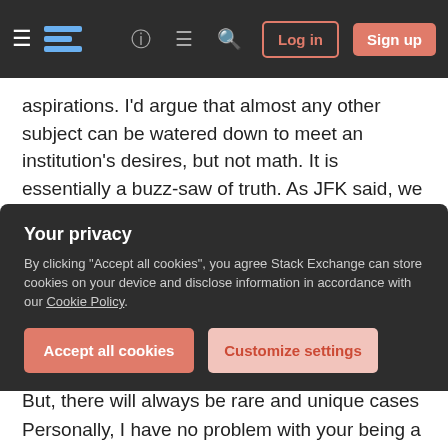Stack Exchange navigation bar with hamburger menu, logo, help, chat, search icons, Log in and Sign up buttons
aspirations. I'd argue that almost any other subject can be watered down to meet an institution's desires, but not math. It is essentially a buzz-saw of truth. As JFK said, we do these things "not because they are easy, but because they are hard".
For me, I think of this like being a doctor (or at least a triage medic): Diagnosing what in the world has gone wrong in their heads. You'll learn to spot some common general patterns. But, there will always be rare and unique cases popping up with things you
Your privacy
By clicking "Accept all cookies", you agree Stack Exchange can store cookies on your device and disclose information in accordance with our Cookie Policy.
Accept all cookies
Customize settings
Personally, I have no problem with your being a